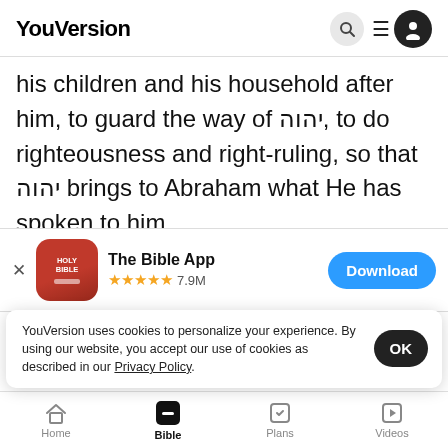YouVersion
his children and his household after him, to guard the way of יהוה, to do righteousness and right-ruling, so that יהוה brings to Abraham what He has spoken to him.
[Figure (screenshot): The Bible App download banner with Holy Bible app icon, 5-star rating, 7.9M reviews, and Download button]
heavy.
21 "I a... have do...
YouVersion uses cookies to personalize your experience. By using our website, you accept our use of cookies as described in our Privacy Policy.
Home  Bible  Plans  Videos